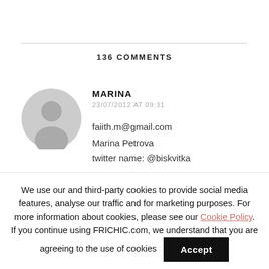136 COMMENTS
[Figure (illustration): Gray circular user avatar placeholder icon]
MARINA
23/07/2012 AT 09:31

faiith.m@gmail.com
Marina Petrova
twitter name: @biskvitka
We use our and third-party cookies to provide social media features, analyse our traffic and for marketing purposes. For more information about cookies, please see our Cookie Policy. If you continue using FRICHIC.com, we understand that you are agreeing to the use of cookies  Accept